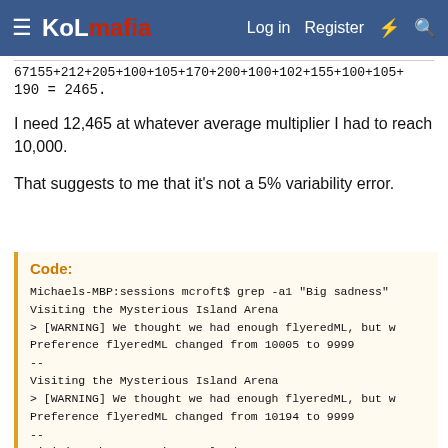KoLmafia — Log in  Register
67155+212+205+100+105+170+200+100+102+155+100+105+190 = 2465.
I need 12,465 at whatever average multiplier I had to reach 10,000.
That suggests to me that it's not a 5% variability error.
Code:
Michaels-MBP:sessions mcroft$ grep -a1 "Big sadness"
Visiting the Mysterious Island Arena
> [WARNING] We thought we had enough flyeredML, but w
Preference flyeredML changed from 10005 to 9999
--
Visiting the Mysterious Island Arena
> [WARNING] We thought we had enough flyeredML, but w
Preference flyeredML changed from 10194 to 9999
--
Visiting the Mysterious Island Arena
> [WARNING] We thought we had enough flyeredML, but w